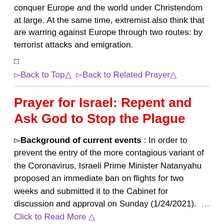conquer Europe and the world under Christendom at large. At the same time, extremist also think that are warring against Europe through two routes: by terrorist attacks and emigration.
□
▹Back to Top◃  ▹Back to Related Prayer◃
Prayer for Israel: Repent and Ask God to Stop the Plague
▹Background of current events◃ : In order to prevent the entry of the more contagious variant of the Coronavirus, Israeli Prime Minister Natanyahu proposed an immediate ban on flights for two weeks and submitted it to the Cabinet for discussion and approval on Sunday (1/24/2021).  … Click to Read More ▹
On Saturday, Israeli Natanyahu also stated the official from the